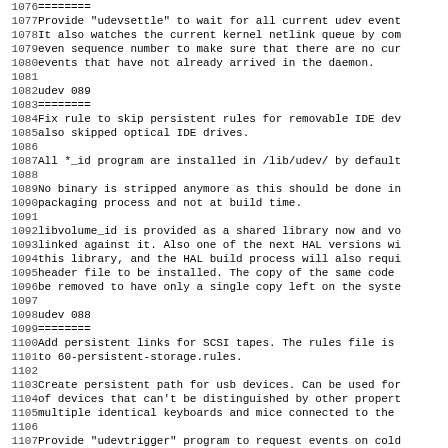1076 ========
1077 Provide "udevsettle" to wait for all current udev events
1078 It also watches the current kernel netlink queue by com
1079 even sequence number to make sure that there are no cur
1080 events that have not already arrived in the daemon.
1081 
1082 udev 089
1083 ========
1084 Fix rule to skip persistent rules for removable IDE dev
1085 also skipped optical IDE drives.
1086 
1087 All *_id program are installed in /lib/udev/ by default
1088 
1089 No binary is stripped anymore as this should be done in
1090 packaging process and not at build time.
1091 
1092 libvolume_id is provided as a shared library now and vo
1093 linked against it. Also one of the next HAL versions wi
1094 this library, and the HAL build process will also requi
1095 header file to be installed. The copy of the same code
1096 be removed to have only a single copy left on the syste
1097 
1098 udev 088
1099 ========
1100 Add persistent links for SCSI tapes. The rules file is
1101 to 60-persistent-storage.rules.
1102 
1103 Create persistent path for usb devices. Can be used for
1104 of devices that can't be distinguished by other propert
1105 multiple identical keyboards and mice connected to the
1106 
1107 Provide "udevtrigger" program to request events on cold